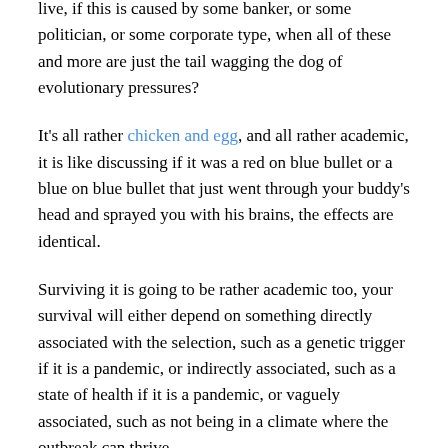live, if this is caused by some banker, or some politician, or some corporate type, when all of these and more are just the tail wagging the dog of evolutionary pressures?
It's all rather chicken and egg, and all rather academic, it is like discussing if it was a red on blue bullet or a blue on blue bullet that just went through your buddy's head and sprayed you with his brains, the effects are identical.
Surviving it is going to be rather academic too, your survival will either depend on something directly associated with the selection, such as a genetic trigger if it is a pandemic, or indirectly associated, such as a state of health if it is a pandemic, or vaguely associated, such as not being in a climate where the outbreak can thrive.
I cannot, Gattaca style, doing anything about my DNA, but I can do something about not being around in close